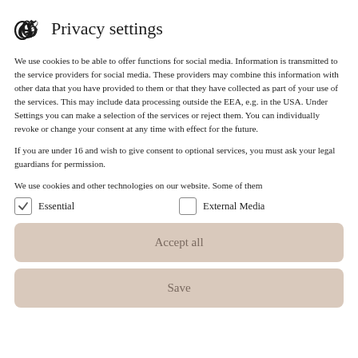Privacy settings
We use cookies to be able to offer functions for social media. Information is transmitted to the service providers for social media. These providers may combine this information with other data that you have provided to them or that they have collected as part of your use of the services. This may include data processing outside the EEA, e.g. in the USA. Under Settings you can make a selection of the services or reject them. You can individually revoke or change your consent at any time with effect for the future.
If you are under 16 and wish to give consent to optional services, you must ask your legal guardians for permission.
We use cookies and other technologies on our website. Some of them
Essential
External Media
Accept all
Save